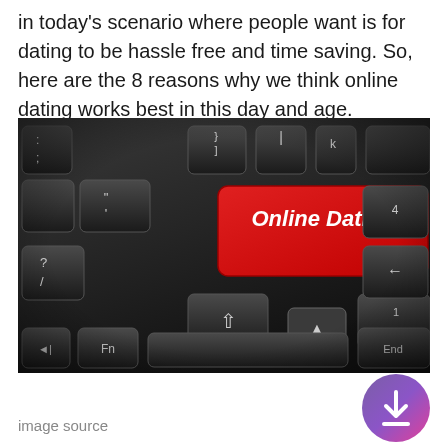in today’s scenario where people want is for dating to be hassle free and time saving. So, here are the 8 reasons why we think online dating works best in this day and age.
[Figure (photo): Close-up photo of a dark keyboard with a red key labeled 'Online Dating' in white italic text, surrounded by standard dark keyboard keys including Fn, End, and arrow keys.]
image source